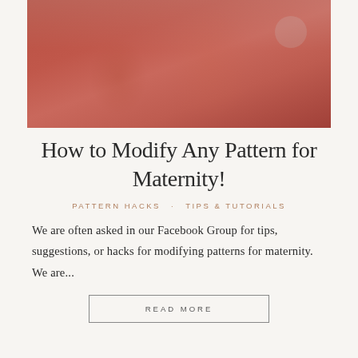[Figure (photo): A pregnant woman wearing a rust/terracotta colored long-sleeve top, holding her baby bump with one hand. A plant is visible in the background.]
How to Modify Any Pattern for Maternity!
PATTERN HACKS · TIPS & TUTORIALS
We are often asked in our Facebook Group for tips, suggestions, or hacks for modifying patterns for maternity. We are...
READ MORE